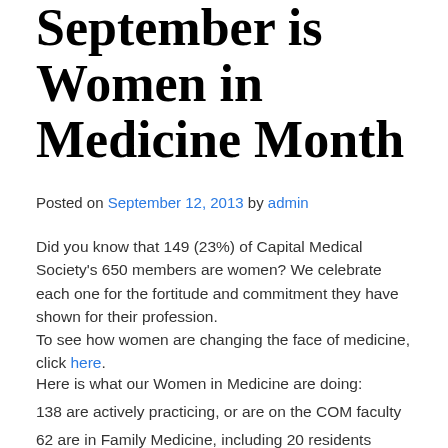September is Women in Medicine Month
Posted on September 12, 2013 by admin
Did you know that 149 (23%) of Capital Medical Society's 650 members are women? We celebrate each one for the fortitude and commitment they have shown for their profession.
To see how women are changing the face of medicine, click here.
Here is what our Women in Medicine are doing:
138 are actively practicing, or are on the COM faculty
62 are in Family Medicine, including 20 residents
20 are in Internal Medicine, including 3 residents